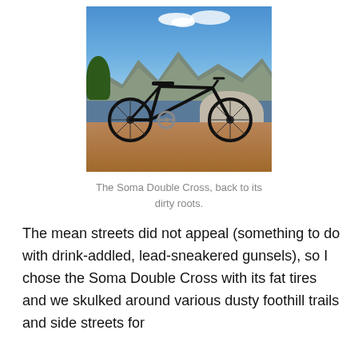[Figure (photo): A black road/cyclocross bicycle leaning against a large boulder in a desert landscape with mountains and blue sky in the background.]
The Soma Double Cross, back to its dirty roots.
The mean streets did not appeal (something to do with drink-addled, lead-sneakered gunsels), so I chose the Soma Double Cross with its fat tires and we skulked around various dusty foothill trails and side streets for